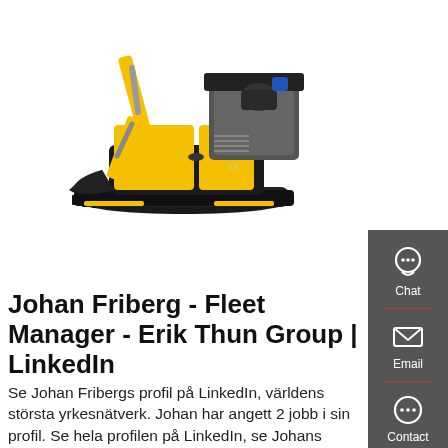[Figure (photo): A small yellow mini excavator/digger with black tracks and bucket, on a white background.]
Johan Friberg - Fleet Manager - Erik Thun Group | LinkedIn
Se Johan Fribergs profil på LinkedIn, världens största yrkesnätverk. Johan har angett 2 jobb i sin profil. Se hela profilen på LinkedIn, se Johans kontakter och